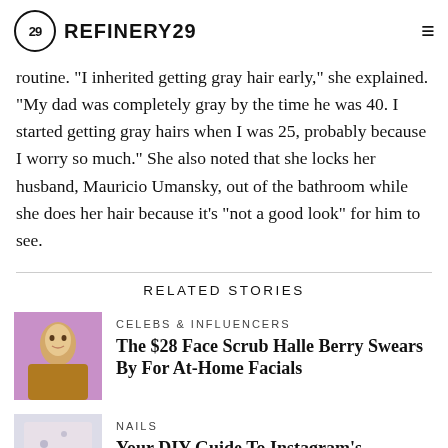REFINERY29
routine. "I inherited getting gray hair early," she explained. "My dad was completely gray by the time he was 40. I started getting gray hairs when I was 25, probably because I worry so much." She also noted that she locks her husband, Mauricio Umansky, out of the bathroom while she does her hair because it’s “not a good look” for him to see.
RELATED STORIES
CELEBS & INFLUENCERS
The $28 Face Scrub Halle Berry Swears By For At-Home Facials
NAILS
Your DIY Guide To Instagram’s